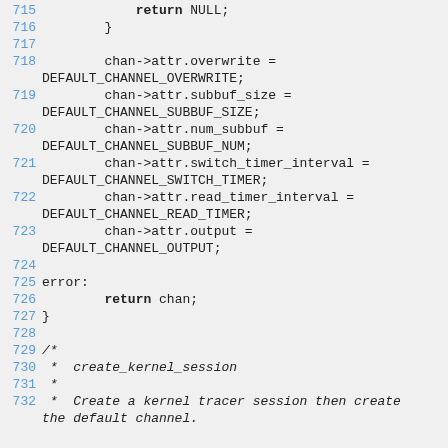Source code lines 715-732 showing C code for channel attribute initialization and create_kernel_session comment block.